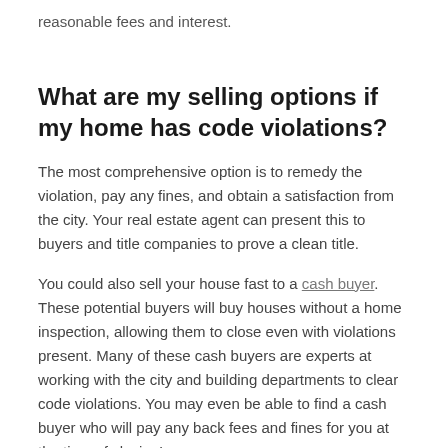reasonable fees and interest.
What are my selling options if my home has code violations?
The most comprehensive option is to remedy the violation, pay any fines, and obtain a satisfaction from the city. Your real estate agent can present this to buyers and title companies to prove a clean title.
You could also sell your house fast to a cash buyer. These potential buyers will buy houses without a home inspection, allowing them to close even with violations present. Many of these cash buyers are experts at working with the city and building departments to clear code violations. You may even be able to find a cash buyer who will pay any back fees and fines for you at the time of closing!